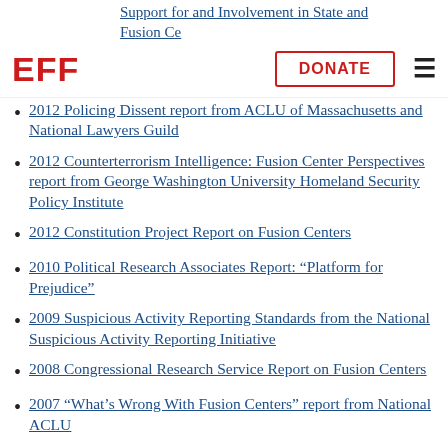EFF | DONATE | Support for and Involvement in State and Fusion Centers
2012 Policing Dissent report from ACLU of Massachusetts and National Lawyers Guild
2012 Counterterrorism Intelligence: Fusion Center Perspectives report from George Washington University Homeland Security Policy Institute
2012 Constitution Project Report on Fusion Centers
2010 Political Research Associates Report: “Platform for Prejudice”
2009 Suspicious Activity Reporting Standards from the National Suspicious Activity Reporting Initiative
2008 Congressional Research Service Report on Fusion Centers
2007 “What’s Wrong With Fusion Centers” report from National ACLU